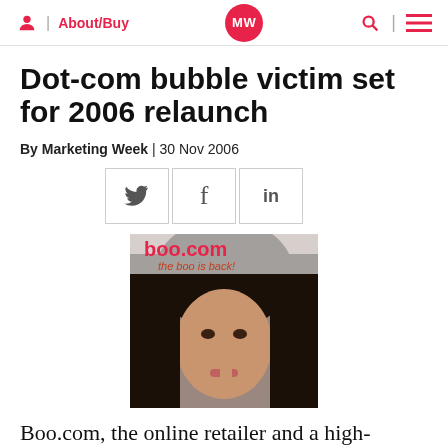About/Buy | MW | Search | Menu
Dot-com bubble victim set for 2006 relaunch
By Marketing Week | 30 Nov 2006
[Figure (illustration): boo.com advertisement image showing a young woman with text 'boo.com the boo is back!']
Boo.com, the online retailer and a high-